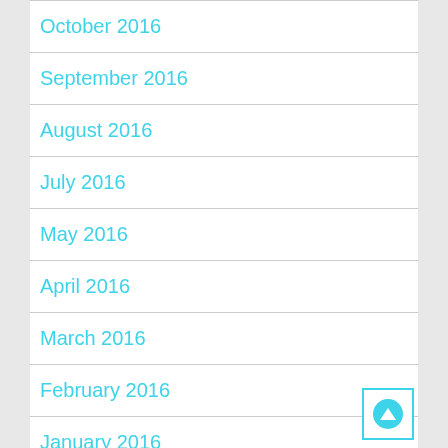October 2016
September 2016
August 2016
July 2016
May 2016
April 2016
March 2016
February 2016
January 2016